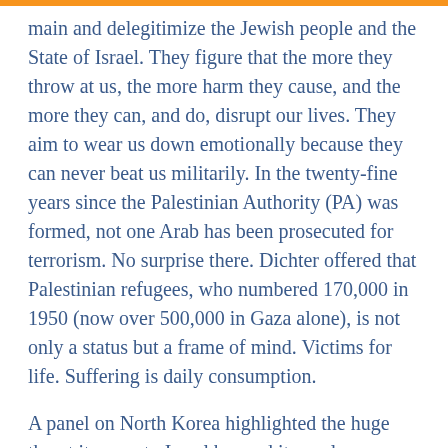main and delegitimize the Jewish people and the State of Israel. They figure that the more they throw at us, the more harm they cause, and the more they can, and do, disrupt our lives. They aim to wear us down emotionally because they can never beat us militarily. In the twenty-fine years since the Palestinian Authority (PA) was formed, not one Arab has been prosecuted for terrorism. No surprise there. Dichter offered that Palestinian refugees, who numbered 170,000 in 1950 (now over 500,000 in Gaza alone), is not only a status but a frame of mind. Victims for life. Suffering is daily consumption.
A panel on North Korea highlighted the huge threat it poses to Israel beyond its nuclear capability, because it supplies rockets and chemical weapons to Iran and Syria. North Koreans live under severe oppression and human rights violations unprecedented in the modern world - 30% of